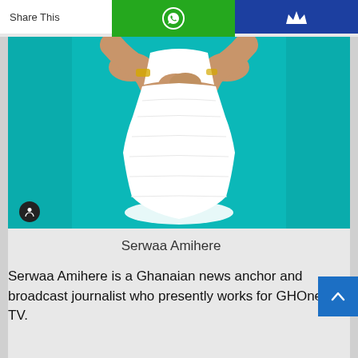Share This
[Figure (photo): A woman wearing a white body-hugging dress against a teal/turquoise background, with her hands clasped at her waist, showing bracelets and rings. Only the torso and lower body are visible.]
Serwaa Amihere
Serwaa Amihere is a Ghanaian news anchor and broadcast journalist who presently works for GHOne TV.